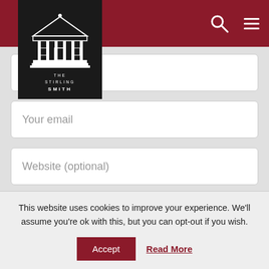The Stirling Smith Museum — navigation header with search and menu icons
[Figure (logo): The Stirling Smith museum logo: black box with white illustration of a classical building with columns, text THE STIRLING SMITH below]
Your name
Your email
Website (optional)
Please enter an answer in digits:
2 – 1 =
This website uses cookies to improve your experience. We'll assume you're ok with this, but you can opt-out if you wish.
Accept
Read More